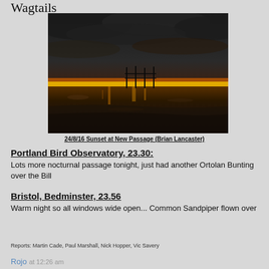Wagtails
[Figure (photo): Sunset at New Passage, dark dramatic sky with orange and yellow glow over water with silhouetted pier structures]
24/8/16 Sunset at New Passage (Brian Lancaster)
Portland Bird Observatory, 23.30:
Lots more nocturnal passage tonight, just had another Ortolan Bunting over the Bill
Bristol, Bedminster, 23.56
Warm night so all windows wide open... Common Sandpiper flown over
Reports: Martin Cade, Paul Marshall, Nick Hopper, Vic Savery
Rojo at 12:26 am